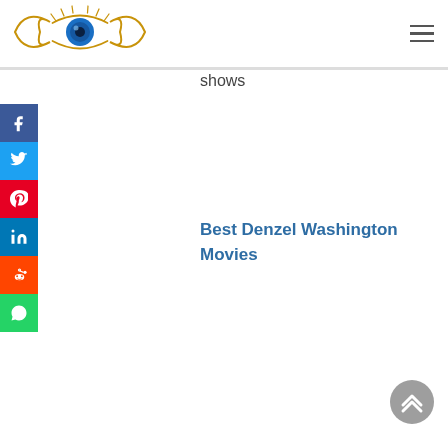[Figure (logo): Eye logo with golden swirl and blue iris]
shows
[Figure (infographic): Social media share sidebar with Facebook, Twitter, Pinterest, LinkedIn, Reddit, WhatsApp icons]
Best Denzel Washington Movies
[Figure (other): Back to top button, grey circle with double up chevron]